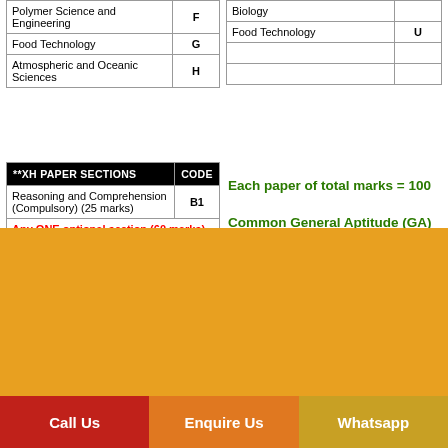|  |  |
| --- | --- |
| Polymer Science and Engineering | F |
| Food Technology | G |
| Atmospheric and Oceanic Sciences | H |
|  |  |
| --- | --- |
| Biology |  |
| Food Technology | U |
|  |  |
|  |  |
| **XH PAPER SECTIONS | CODE |
| --- | --- |
| Reasoning and Comprehension (Compulsory) (25 marks) | B1 |
| Any ONE optional section (60 marks) |  |
| Economics | C1 |
| English | C2 |
| Linguistics | C3 |
| Philosophy | C4 |
| Psychology | C5 |
| Sociology | C6 |
Each paper of total marks = 100

Common General Aptitude (GA) section for each paper = 15 marks & Main paper = 85 marks.
[Figure (other): Orange background decorative banner section]
Call Us
Enquire Us
Whatsapp